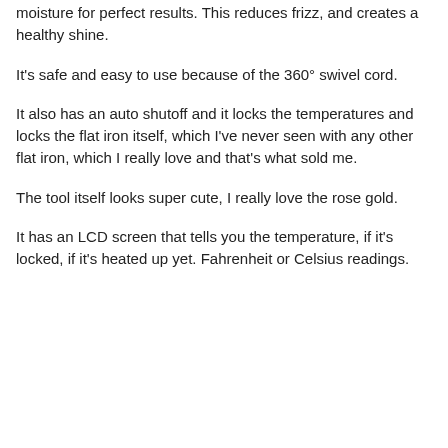moisture for perfect results. This reduces frizz, and creates a healthy shine.
It's safe and easy to use because of the 360° swivel cord.
It also has an auto shutoff and it locks the temperatures and locks the flat iron itself, which I've never seen with any other flat iron, which I really love and that's what sold me.
The tool itself looks super cute, I really love the rose gold.
It has an LCD screen that tells you the temperature, if it's locked, if it's heated up yet. Fahrenheit or Celsius readings.